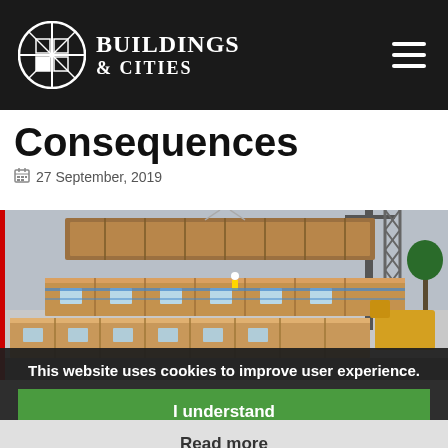Buildings & Cities
Consequences
27 September, 2019
[Figure (photo): Construction site photo showing modular building units being hoisted by a crane. Multiple large prefabricated modules are stacked, with workers visible and construction equipment including a yellow crane in the background.]
This website uses cookies to improve user experience.
I understand
Read more